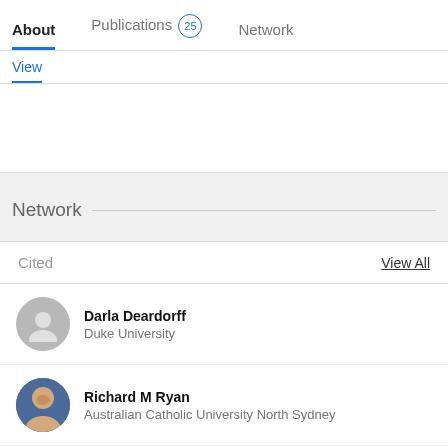About   Publications 25   Network
View
Network
Cited   View All
Darla Deardorff
Duke University
Richard M Ryan
Australian Catholic University North Sydney
Patricia A Jennings